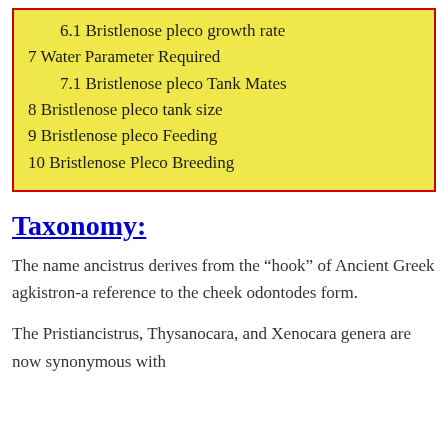6.1 Bristlenose pleco growth rate
7 Water Parameter Required
7.1 Bristlenose pleco Tank Mates
8 Bristlenose pleco tank size
9 Bristlenose pleco Feeding
10 Bristlenose Pleco Breeding
Taxonomy:
The name ancistrus derives from the “hook” of Ancient Greek agkistron-a reference to the cheek odontodes form.
The Pristiancistrus, Thysanocara, and Xenocara genera are now synonymous with